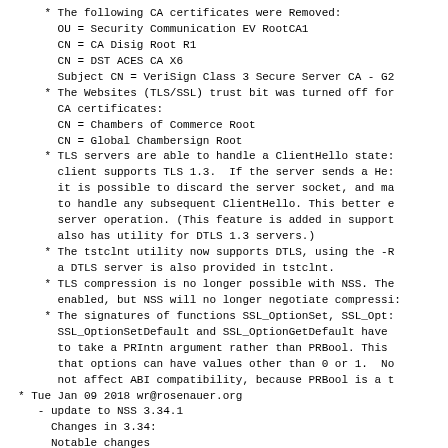* The following CA certificates were Removed:
    OU = Security Communication EV RootCA1
    CN = CA Disig Root R1
    CN = DST ACES CA X6
    Subject CN = VeriSign Class 3 Secure Server CA - G2
* The Websites (TLS/SSL) trust bit was turned off for
    CA certificates:
    CN = Chambers of Commerce Root
    CN = Global Chambersign Root
* TLS servers are able to handle a ClientHello state:
    client supports TLS 1.3.  If the server sends a He:
    it is possible to discard the server socket, and ma
    to handle any subsequent ClientHello. This better e
    server operation. (This feature is added in support
    also has utility for DTLS 1.3 servers.)
* The tstclnt utility now supports DTLS, using the -R
    a DTLS server is also provided in tstclnt.
* TLS compression is no longer possible with NSS. The
    enabled, but NSS will no longer negotiate compressi:
* The signatures of functions SSL_OptionSet, SSL_Opt:
    SSL_OptionSetDefault and SSL_OptionGetDefault have
    to take a PRIntn argument rather than PRBool. This
    that options can have values other than 0 or 1.  No
    not affect ABI compatibility, because PRBool is a t
* Tue Jan 09 2018 wr@rosenauer.org
- update to NSS 3.34.1
    Changes in 3.34:
    Notable changes
* The following CA certificates were Added:
    GDCA TrustAUTH R5 ROOT